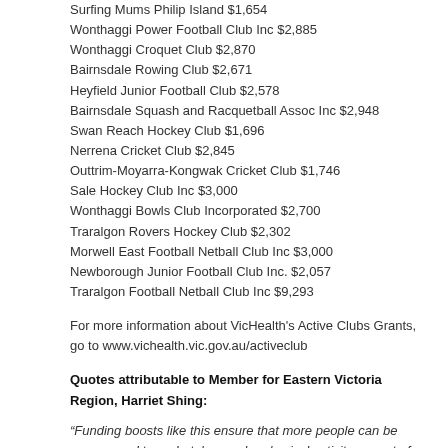Surfing Mums Philip Island $1,654
Wonthaggi Power Football Club Inc $2,885
Wonthaggi Croquet Club $2,870
Bairnsdale Rowing Club $2,671
Heyfield Junior Football Club $2,578
Bairnsdale Squash and Racquetball Assoc Inc $2,948
Swan Reach Hockey Club $1,696
Nerrena Cricket Club $2,845
Outtrim-Moyarra-Kongwak Cricket Club $1,746
Sale Hockey Club Inc $3,000
Wonthaggi Bowls Club Incorporated $2,700
Traralgon Rovers Hockey Club $2,302
Morwell East Football Netball Club Inc $3,000
Newborough Junior Football Club Inc. $2,057
Traralgon Football Netball Club Inc $9,293
For more information about VicHealth's Active Clubs Grants, go to www.vichealth.vic.gov.au/activeclub
Quotes attributable to Member for Eastern Victoria Region, Harriet Shing:
“Funding boosts like this ensure that more people can be encouraged to undertake regular physical activity as part of their day to day life.”